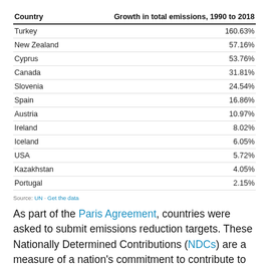| Country | Growth in total emissions, 1990 to 2018 |
| --- | --- |
| Turkey | 160.63% |
| New Zealand | 57.16% |
| Cyprus | 53.76% |
| Canada | 31.81% |
| Slovenia | 24.54% |
| Spain | 16.86% |
| Austria | 10.97% |
| Ireland | 8.02% |
| Iceland | 6.05% |
| USA | 5.72% |
| Kazakhstan | 4.05% |
| Portugal | 2.15% |
Source: UN · Get the data
As part of the Paris Agreement, countries were asked to submit emissions reduction targets. These Nationally Determined Contributions (NDCs) are a measure of a nation's commitment to contribute to the goal of limiting